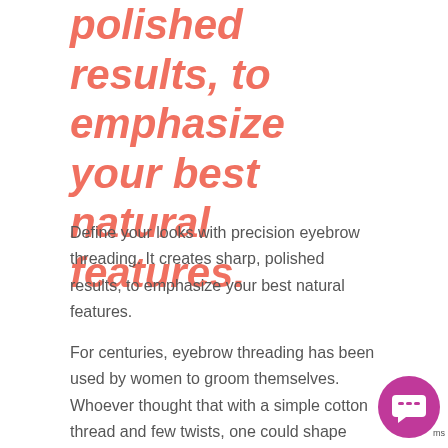polished results, to emphasize your best natural features.
Define your looks with precision eyebrow threading. It creates sharp, polished results, to emphasize your best natural features.
For centuries, eyebrow threading has been used by women to groom themselves. Whoever thought that with a simple cotton thread and few twists, one could shape eyebrows, the most eminent feature of the face, was